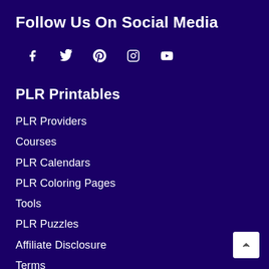Follow Us On Social Media
[Figure (infographic): Social media icons row: Facebook (f), Twitter (bird), Pinterest (p), Instagram (camera), YouTube (play button)]
PLR Printables
PLR Providers
Courses
PLR Calendars
PLR Coloring Pages
Tools
PLR Puzzles
Affiliate Disclosure
Terms